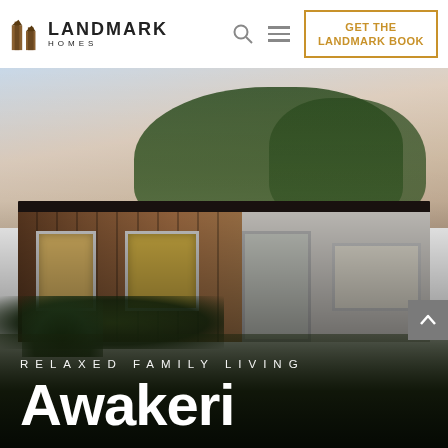[Figure (logo): Landmark Homes logo with two brown building icons and text 'LANDMARK HOMES']
GET THE LANDMARK BOOK
[Figure (photo): Exterior render of a modern single-story home with wooden cladding and white render walls, large windows, landscaping with plants in foreground, dusk sky in background]
RELAXED FAMILY LIVING
Awakeri